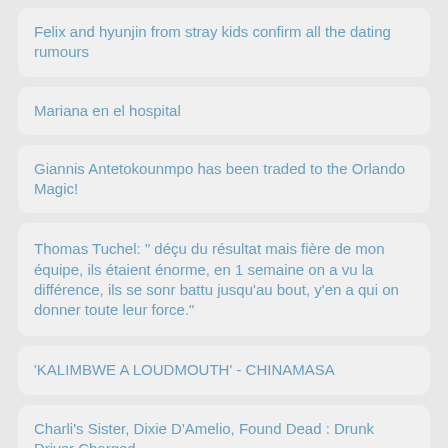Felix and hyunjin from stray kids confirm all the dating rumours
Mariana en el hospital
Giannis Antetokounmpo has been traded to the Orlando Magic!
Thomas Tuchel: " déçu du résultat mais fière de mon équipe, ils étaient énorme, en 1 semaine on a vu la différence, ils se sonr battu jusqu'au bout, y'en a qui on donner toute leur force."
'KALIMBWE A LOUDMOUTH' - CHINAMASA
Charli's Sister, Dixie D'Amelio, Found Dead : Drunk Driver Charged